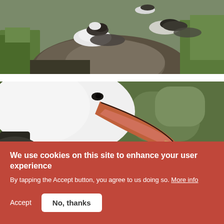[Figure (photo): Two seabirds (albatrosses) resting on dark rocks with green grass/moss in the background. The birds are white with dark wings.]
[Figure (photo): Close-up of a seabird (albatross) with a large pink/orange beak touching or feeding another bird's head against a blurred green background.]
We use cookies on this site to enhance your user experience
By tapping the Accept button, you agree to us doing so. More info
Accept
No, thanks